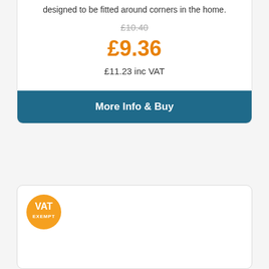designed to be fitted around corners in the home.
£10.40
£9.36
£11.23 inc VAT
More Info & Buy
[Figure (logo): Orange circular VAT EXEMPT badge]